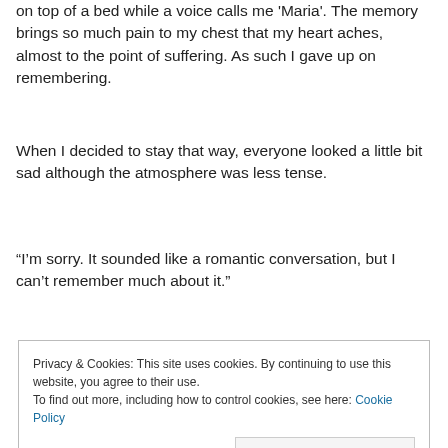on top of a bed while a voice calls me 'Maria'. The memory brings so much pain to my chest that my heart aches, almost to the point of suffering. As such I gave up on remembering.
When I decided to stay that way, everyone looked a little bit sad although the atmosphere was less tense.
“I’m sorry. It sounded like a romantic conversation, but I can’t remember much about it.”
Privacy & Cookies: This site uses cookies. By continuing to use this website, you agree to their use. To find out more, including how to control cookies, see here: Cookie Policy
Close and accept